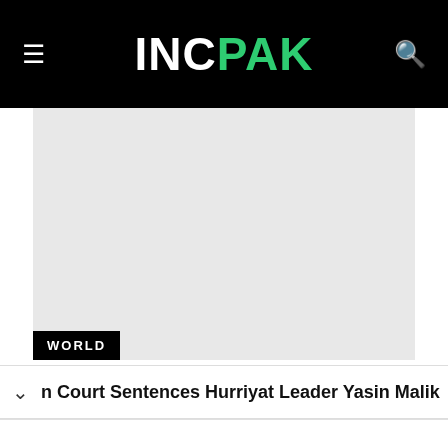INCPAK
[Figure (photo): Large image placeholder area with light grey background, with a black WORLD badge in the bottom-left corner]
n Court Sentences Hurriyat Leader Yasin Malik
Save Big on Goodyear Tires
Virginia Tire & Auto of Ashburn ...